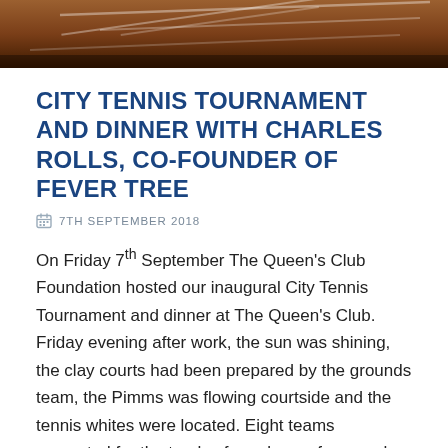[Figure (photo): Clay tennis court surface with white court lines visible, cropped banner image at top of page]
CITY TENNIS TOURNAMENT AND DINNER WITH CHARLES ROLLS, CO-FOUNDER OF FEVER TREE
7TH SEPTEMBER 2018
On Friday 7th September The Queen's Club Foundation hosted our inaugural City Tennis Tournament and dinner at The Queen's Club. Friday evening after work, the sun was shining, the clay courts had been prepared by the grounds team, the Pimms was flowing courtside and the tennis whites were located. Eight teams competed for the trophy, four players from each company. Thank you to the companies who took part; Aberdeen Standard Investments, Brown Advisory, BNP Paribas, Cazenove